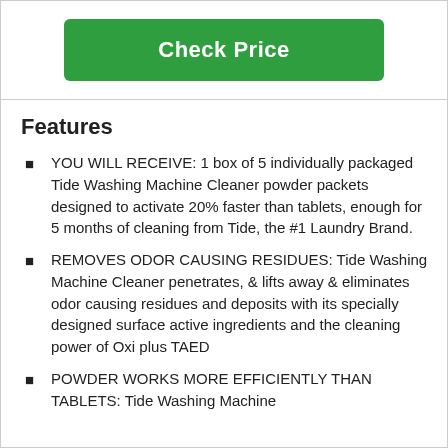Check Price
Features
YOU WILL RECEIVE: 1 box of 5 individually packaged Tide Washing Machine Cleaner powder packets designed to activate 20% faster than tablets, enough for 5 months of cleaning from Tide, the #1 Laundry Brand.
REMOVES ODOR CAUSING RESIDUES: Tide Washing Machine Cleaner penetrates, & lifts away & eliminates odor causing residues and deposits with its specially designed surface active ingredients and the cleaning power of Oxi plus TAED
POWDER WORKS MORE EFFICIENTLY THAN TABLETS: Tide Washing Machine